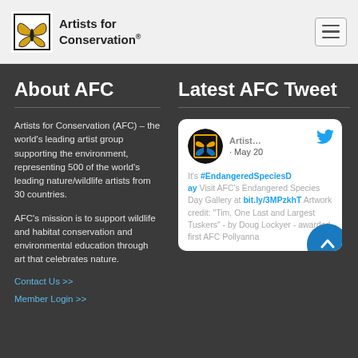Artists for Conservation
About AFC
Artists for Conservation (AFC) – the world's leading artist group supporting the environment, representing 500 of the world's leading nature/wildlife artists from 30 countries.
AFC's mission is to support wildlife and habitat conservation and environmental education through art that celebrates nature.
Contact Us >>
Member Login >>
Latest AFC Tweet
[Figure (screenshot): Tweet card from Artists for Conservation dated May 20, mentioning #EndangeredSpeciesDay and a link bit.ly/3MPzkhT, with artwork credit for Tim, One Last and Largest Tuskers by Doug Lockyer awarded first AFC Pollyanna]